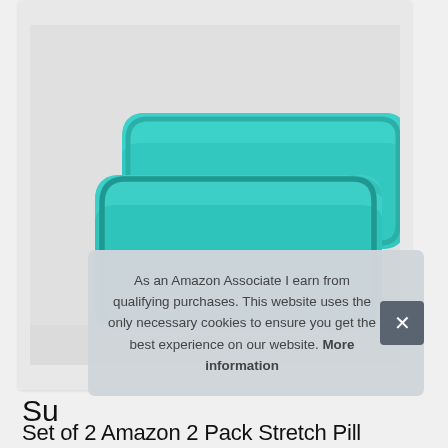[Figure (photo): Two teal/turquoise rectangular pillowcases stacked slightly offset on a white surface]
As an Amazon Associate I earn from qualifying purchases. This website uses the only necessary cookies to ensure you get the best experience on our website. More information
Su